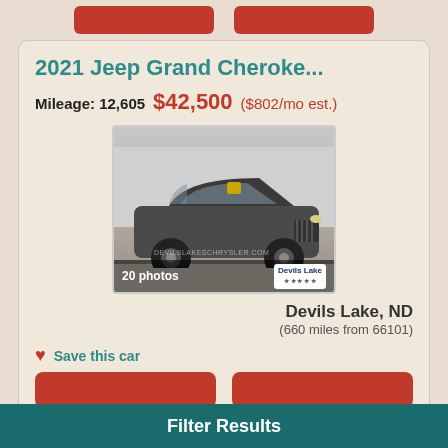2021 Jeep Grand Cheroke...
Mileage: 12,605  $42,500 ($802/mo est.)
[Figure (photo): Photo of a dark gray 2021 Jeep Grand Cherokee SUV parked in a lot, with text '20 photos' and a Devils Lake dealer logo overlay at the bottom.]
Devils Lake, ND
(660 miles from 66101)
Save this car
Filter Results